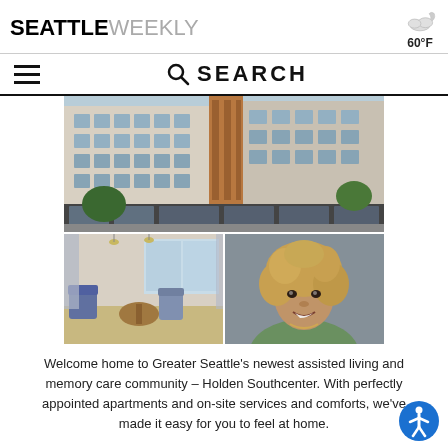SEATTLE WEEKLY — 60°F
SEARCH (search bar with hamburger menu)
[Figure (photo): Exterior of a modern multi-story apartment/assisted living building with white and orange/brown paneling and large windows, street level view with trees]
[Figure (photo): Interior lounge/common area with comfortable chairs, tables, pendant lights, and large windows]
[Figure (photo): Portrait of a smiling middle-aged woman with curly hair wearing a green top]
Welcome home to Greater Seattle's newest assisted living and memory care community – Holden Southcenter. With perfectly appointed apartments and on-site services and comforts, we've made it easy for you to feel at home.